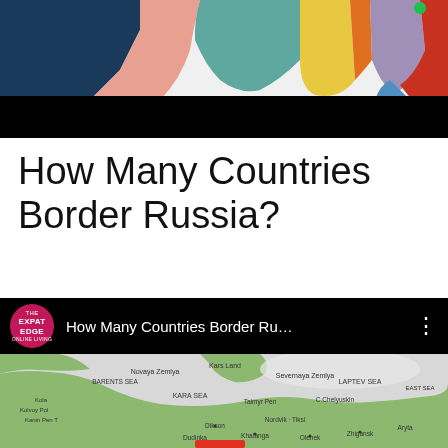[Figure (map): Colorful political map showing regions bordering Russia, with distinct color-coded territories in dark blue, salmon/pink, teal, yellow, orange, gray-purple, and red. A black censorship bar overlays the bottom portion of the map.]
How Many Countries Border Russia?
[Figure (screenshot): YouTube video thumbnail and header showing 'The Expat Edge' channel logo (pink circle) and video title 'How Many Countries Border Ru...' with three-dot menu icon, followed by a grayscale map of Russia's Arctic region showing Kara Sea, Laptev Sea, Novaya Zemlya, Severnaya Zemlya, Taimyr Pen, and various Russian cities.]